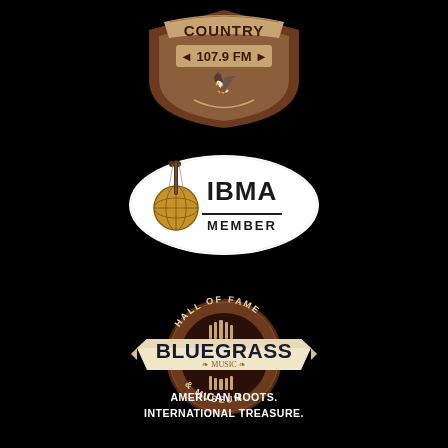[Figure (logo): Country 107.9 FM radio station logo — brown shield shape with decorative banner and eagle, text 'COUNTRY 107.9 FM']
[Figure (logo): IBMA Member logo — white oval with banjo graphic (globe-shaped body) and text 'IBMA MEMBER' in black]
[Figure (logo): Bluegrass Music Hall of Fame & Museum circular badge logo with cream ribbon banner reading 'BLUEGRASS MUSIC', brown circle with 'HALL OF FAME' and '& MUSEUM' text, decorative strings/pillars]
AMERICAN ROOTS.
INTERNATIONAL TREASURE.